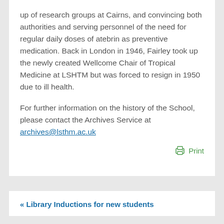up of research groups at Cairns, and convincing both authorities and serving personnel of the need for regular daily doses of atebrin as preventive medication. Back in London in 1946, Fairley took up the newly created Wellcome Chair of Tropical Medicine at LSHTM but was forced to resign in 1950 due to ill health.
For further information on the history of the School, please contact the Archives Service at archives@lsthm.ac.uk
Print
« Library Inductions for new students